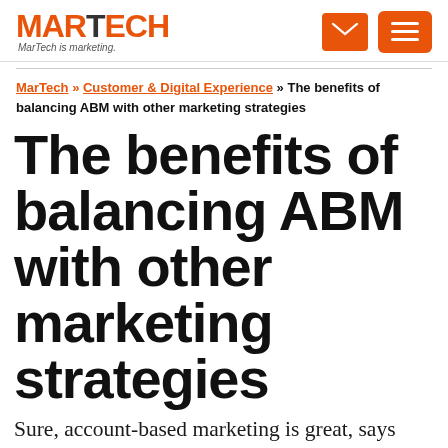MARTECH — MarTech is marketing.
MarTech » Customer & Digital Experience » The benefits of balancing ABM with other marketing strategies
The benefits of balancing ABM with other marketing strategies
Sure, account-based marketing is great, says contributor Patricia Hursh, but it won't drive website traffic or increase...